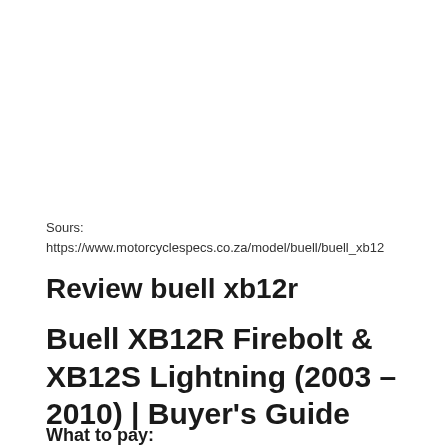Sours:
https://www.motorcyclespecs.co.za/model/buell/buell_xb1
Review buell xb12r
Buell XB12R Firebolt & XB12S Lightning (2003 – 2010) | Buyer's Guide
What to pay: